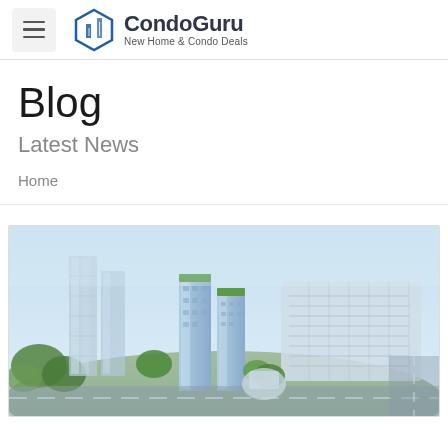CondoGuru — New Home & Condo Deals
Blog
Latest News
Home
[Figure (photo): Aerial rendering of a modern urban condo development with multiple tall residential towers featuring green rooftops, surrounded by trees, roads, and a large parking structure.]